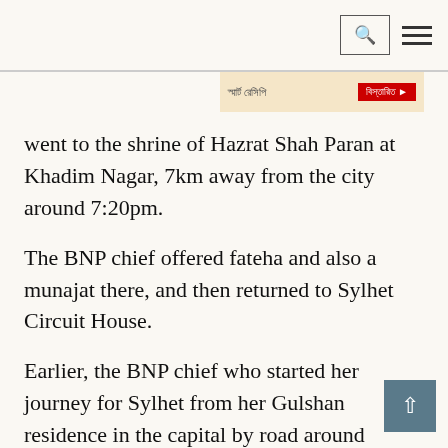Search and menu navigation bar
[Figure (other): Advertisement banner in Bengali with red button]
went to the shrine of Hazrat Shah Paran at Khadim Nagar, 7km away from the city around 7:20pm.
The BNP chief offered fateha and also a munajat there, and then returned to Sylhet Circuit House.
Earlier, the BNP chief who started her journey for Sylhet from her Gulshan residence in the capital by road around 9:15am reached the Sylhet Circuit House around 4:30pm.
After taking lunch and rest for a while at the Circuit House, she went to the shrine of Hazrat Shahjalal (R).
But it took her nearly 50 minutes to reach the